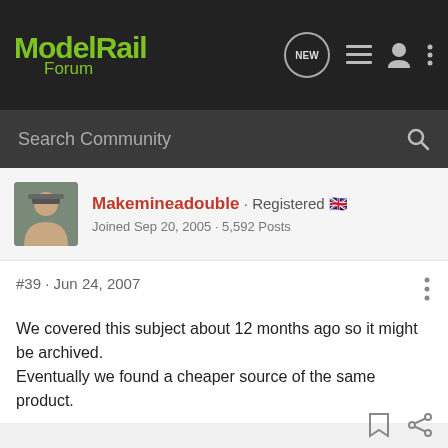Model Rail Forum
Search Community
Makemineadouble · Registered 🇬🇧
Joined Sep 20, 2005 · 5,592 Posts
#39 · Jun 24, 2007
We covered this subject about 12 months ago so it might be archived.
Eventually we found a cheaper source of the same product.